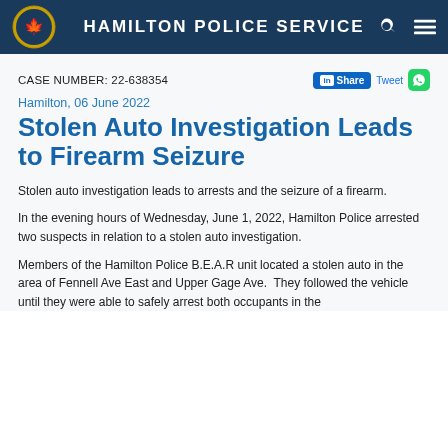HAMILTON POLICE SERVICE
CASE NUMBER: 22-638354
Hamilton, 06 June 2022
Stolen Auto Investigation Leads to Firearm Seizure
Stolen auto investigation leads to arrests and the seizure of a firearm.
In the evening hours of Wednesday, June 1, 2022, Hamilton Police arrested two suspects in relation to a stolen auto investigation.
Members of the Hamilton Police B.E.A.R unit located a stolen auto in the area of Fennell Ave East and Upper Gage Ave.  They followed the vehicle until they were able to safely arrest both occupants in the